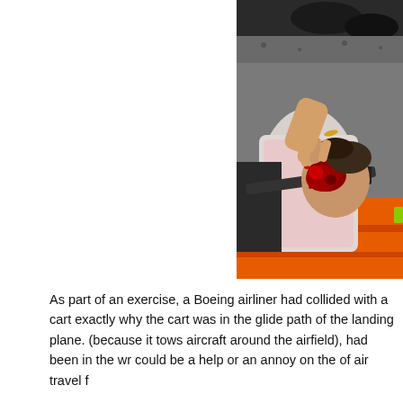[Figure (photo): A person lying on an orange stretcher/backboard on the ground, being attended to by emergency responders. The person appears to have injuries to the face with blood visible. A responder is holding the person's head. The scene appears to be outdoors on a gravel or asphalt surface.]
As part of an exercise, a Boeing airliner had collided with a cart exactly why the cart was in the glide path of the landing plane. (because it tows aircraft around the airfield), had been in the wr could be a help or an annoy on the of air travel f